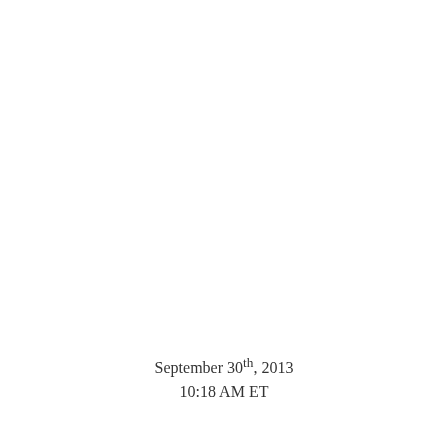September 30th, 2013
10:18 AM ET